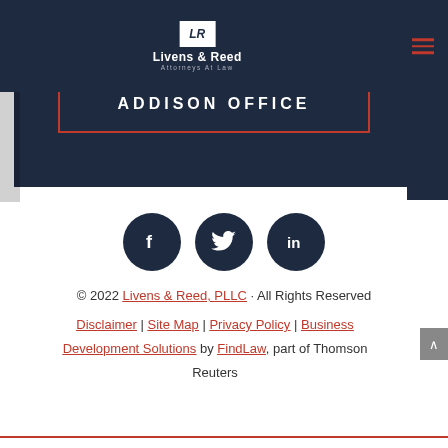[Figure (logo): Livens & Reed Attorneys At Law logo with LR monogram in white box on dark navy header]
ADDISON OFFICE
[Figure (illustration): Three social media icons: Facebook, Twitter, LinkedIn in dark circular buttons]
© 2022 Livens & Reed, PLLC · All Rights Reserved
Disclaimer | Site Map | Privacy Policy | Business Development Solutions by FindLaw, part of Thomson Reuters